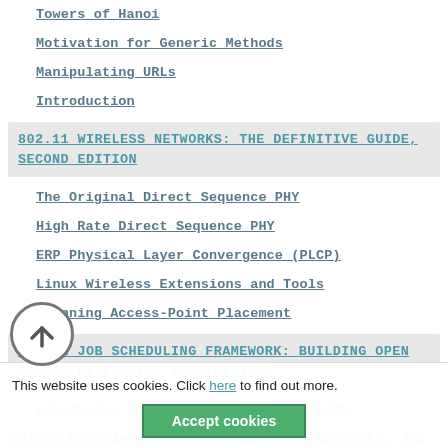Towers of Hanoi
Motivation for Generic Methods
Manipulating URLs
Introduction
802.11 WIRELESS NETWORKS: THE DEFINITIVE GUIDE, SECOND EDITION
The Original Direct Sequence PHY
High Rate Direct Sequence PHY
ERP Physical Layer Convergence (PLCP)
Linux Wireless Extensions and Tools
Planning Access-Point Placement
QUARTZ JOB SCHEDULING FRAMEWORK: BUILDING OPEN SOURCE ENTERPRISE APPLICATIONS
Scheduling the Quartz ScanDirectoryJob
Scheduling a Quartz Job Declaratively
Packaging the Quartz Application
This website uses cookies. Click here to find out more.
PYTHON PROGRAMMING FOR THE ABSOLUTE BEGINNER, 3RD